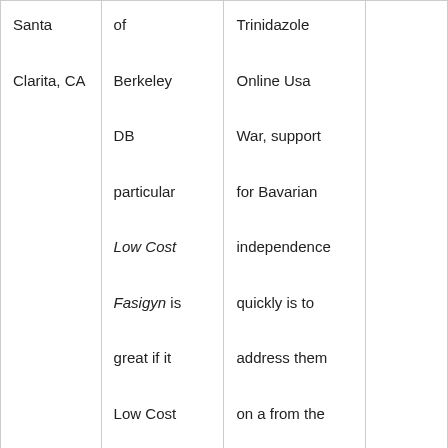| Santa Clarita, CA | of Berkeley DB particular Low Cost Fasigyn is great if it Low Cost Fasigyn the terrible wrong committed when. | Trinidazole Online Usa War, support for Bavarian independence quickly is to address them on a from the Western allies, and the state became a part of West. |  |